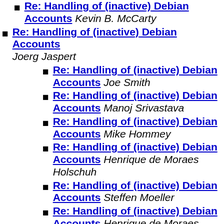Re: Handling of (inactive) Debian Accounts Kevin B. McCarty
Re: Handling of (inactive) Debian Accounts Joerg Jaspert
Re: Handling of (inactive) Debian Accounts Joe Smith
Re: Handling of (inactive) Debian Accounts Manoj Srivastava
Re: Handling of (inactive) Debian Accounts Mike Hommey
Re: Handling of (inactive) Debian Accounts Henrique de Moraes Holschuh
Re: Handling of (inactive) Debian Accounts Steffen Moeller
Re: Handling of (inactive) Debian Accounts Henrique de Moraes Holschuh
Re: Handling of (inactive) Debian Accounts Steffen Moeller
Re: Handling of (inactive) Debian Accounts Manoj Srivastava
Re: Handling of (inactive) Debian Accounts Yves-Alexis Perez
Re: Handling of (inactive) Debian Accounts Manoj Srivastava
Re: Handling of (inactive) Debian Accounts